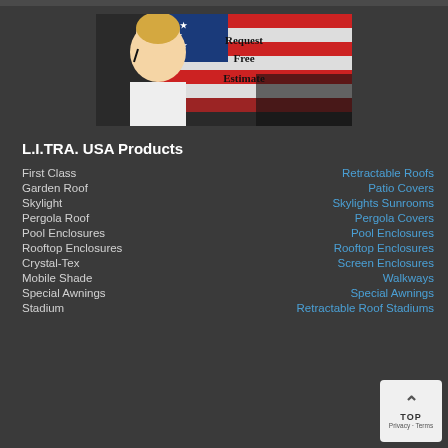[Figure (illustration): Banner image with a woman wearing a headset against an American flag background, with text 'Request Free Estimate']
L.I.TRA. USA Products
First Class — Retractable Roofs
Garden Roof — Patio Covers
Skylight — Skylights Sunrooms
Pergola Roof — Pergola Covers
Pool Enclosures — Pool Enclosures
Rooftop Enclosures — Rooftop Enclosures
Crystal-Tex — Screen Enclosures
Mobile Shade — Walkways
Special Awnings — Special Awnings
Stadium — Retractable Roof Stadiums